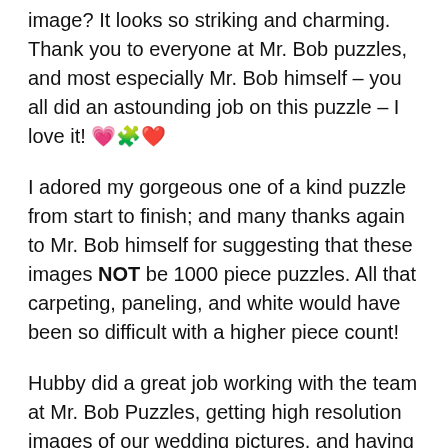image? It looks so striking and charming. Thank you to everyone at Mr. Bob puzzles, and most especially Mr. Bob himself – you all did an astounding job on this puzzle – I love it! 💗🧩❤️
I adored my gorgeous one of a kind puzzle from start to finish; and many thanks again to Mr. Bob himself for suggesting that these images NOT be 1000 piece puzzles. All that carpeting, paneling, and white would have been so difficult with a higher piece count!
Hubby did a great job working with the team at Mr. Bob Puzzles, getting high resolution images of our wedding pictures, and having these beautiful puzzles made. I think I'll keep him.
I've put in over 30 years work getting him whipped into shape; it would be a waste to lose all that effort. 😉